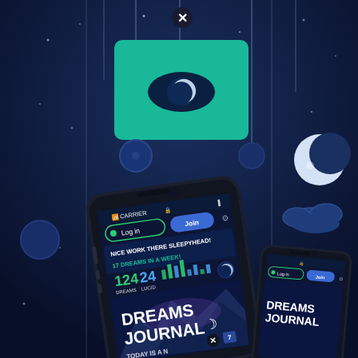[Figure (illustration): App promotional illustration featuring a dark navy blue night-sky background with hanging string decorations, a green teal banner with an eye/moon logo at top, two smartphones showing a Dreams Journal app interface with 'Log in' and 'Join' buttons, stats showing 124 Dreams and 24 Lucid, text 'NICE WORK THERE SLEEPYHEAD! 17 DREAMS IN A WEEK!', moon and cloud decorations on the right, circular blue decorations on the left, and a close/X button at top center.]